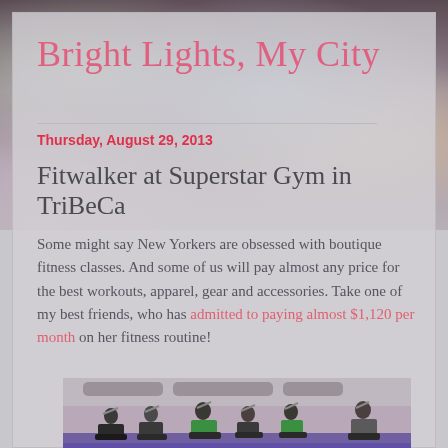Bright Lights, My City
Thursday, August 29, 2013
Fitwalker at Superstar Gym in TriBeCa
Some might say New Yorkers are obsessed with boutique fitness classes. And some of us will pay almost any price for the best workouts, apparel, gear and accessories. Take one of my best friends, who has admitted to paying almost $1,120 per month on her fitness routine!
[Figure (photo): People exercising on cardio machines in a gym with purple floors and industrial ceiling]